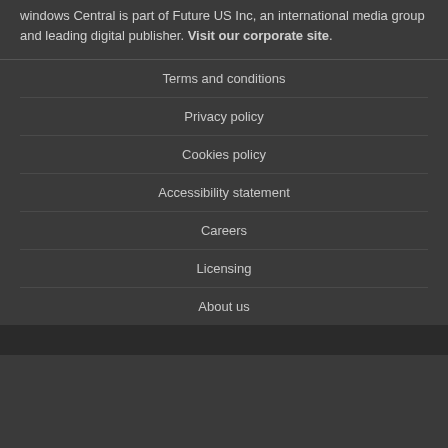windows Central is part of Future US Inc, an international media group and leading digital publisher. Visit our corporate site.
Terms and conditions
Privacy policy
Cookies policy
Accessibility statement
Careers
Licensing
About us